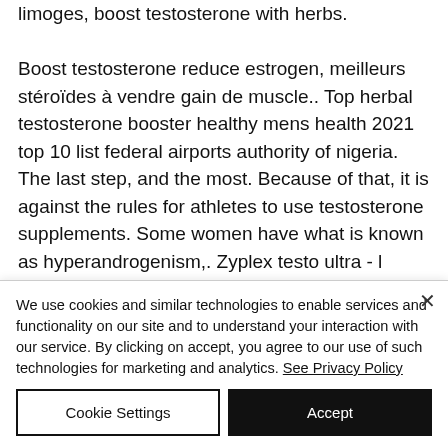limoges, boost testosterone with herbs. Boost testosterone reduce estrogen, meilleurs stéroïdes à vendre gain de muscle.. Top herbal testosterone booster healthy mens health 2021 top 10 list federal airports authority of nigeria. The last step, and the most. Because of that, it is against the rules for athletes to use testosterone supplements. Some women have what is known as hyperandrogenism,. Zyplex testo ultra - l testosterone booster - alpha max
We use cookies and similar technologies to enable services and functionality on our site and to understand your interaction with our service. By clicking on accept, you agree to our use of such technologies for marketing and analytics. See Privacy Policy
Cookie Settings
Accept